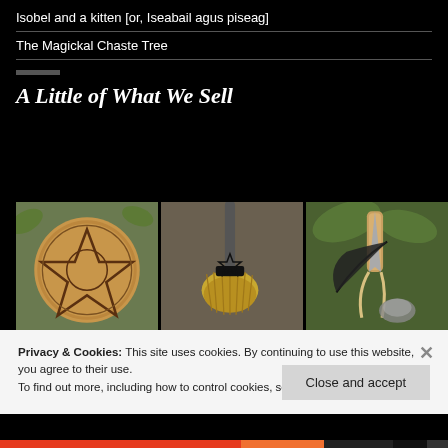Isobel and a kitten [or, Iseabail agus piseag]
The Magickal Chaste Tree
A Little of What We Sell
[Figure (photo): Three product photos side by side: a wood slice with a burned pentagram star, a small besom/broom with a black ribbon handle, and herbs/feathers/athame on a green background.]
Privacy & Cookies: This site uses cookies. By continuing to use this website, you agree to their use.
To find out more, including how to control cookies, see here: Cookie Policy
Close and accept